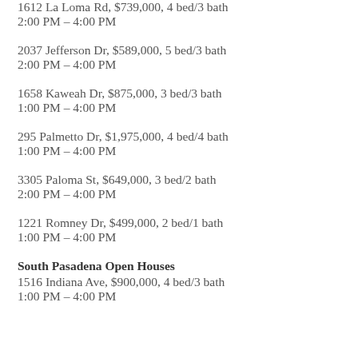1612 La Loma Rd, $739,000, 4 bed/3 bath
2:00 PM – 4:00 PM
2037 Jefferson Dr, $589,000, 5 bed/3 bath
2:00 PM – 4:00 PM
1658 Kaweah Dr, $875,000, 3 bed/3 bath
1:00 PM – 4:00 PM
295 Palmetto Dr, $1,975,000, 4 bed/4 bath
1:00 PM – 4:00 PM
3305 Paloma St, $649,000, 3 bed/2 bath
2:00 PM – 4:00 PM
1221 Romney Dr, $499,000, 2 bed/1 bath
1:00 PM – 4:00 PM
South Pasadena Open Houses
1516 Indiana Ave, $900,000, 4 bed/3 bath
1:00 PM – 4:00 PM